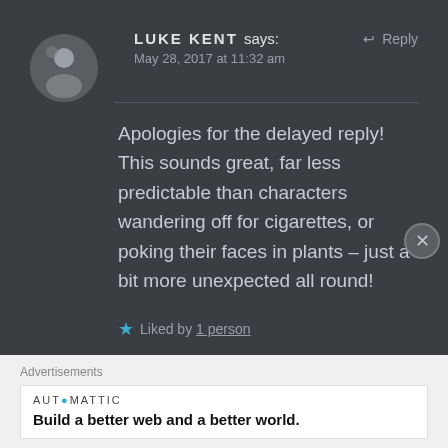LUKE KENT says:
May 28, 2017 at 11:32 am
Reply
Apologies for the delayed reply! This sounds great, far less predictable than characters wandering off for cigarettes, or poking their faces in plants – just a bit more unexpected all round!
★ Liked by 1 person
Advertisements
AUTOMATTIC
Build a better web and a better world.